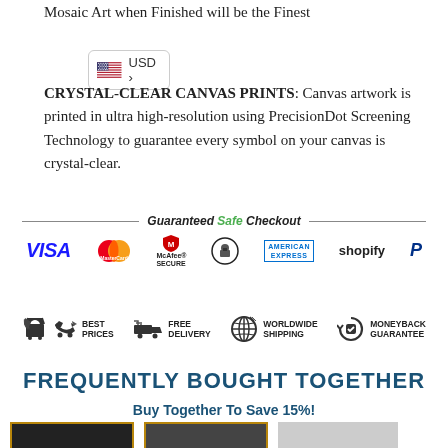Mosaic Art when Finished will be the Finest
[Figure (logo): US flag icon with USD > currency selector badge]
CRYSTAL-CLEAR CANVAS PRINTS: Canvas artwork is printed in ultra high-resolution using PrecisionDot Screening Technology to guarantee every symbol on your canvas is crystal-clear.
[Figure (infographic): Guaranteed Safe Checkout banner with payment logos: VISA, MasterCard, McAfee SECURE, lock icon, AMERICAN EXPRESS, shopify, PayPal P]
[Figure (infographic): Four trust badges: BEST PRICES (tag icon), FREE DELIVERY (truck icon), WORLDWIDE SHIPPING (globe icon), MONEYBACK GUARANTEE (refresh icon)]
FREQUENTLY BOUGHT TOGETHER
Buy Together To Save 15%!
[Figure (photo): Three product thumbnail images at the bottom of the page]